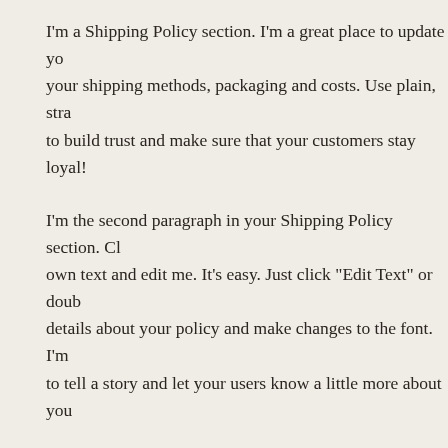I'm a Shipping Policy section. I'm a great place to update your shipping methods, packaging and costs. Use plain, straightforward language to build trust and make sure that your customers stay loyal!
I'm the second paragraph in your Shipping Policy section. Click here to add your own text and edit me. It's easy. Just click "Edit Text" or double click me to add details about your policy and make changes to the font. I'm a great place for you to tell a story and let your users know a little more about you.
Return & Exchange Policy
I'm a return policy section. I'm a great place to let your customers know what to do in case they've changed their mind about their purchase, or if they're not happy with a product their received. Let them know about your return and exchange policy.